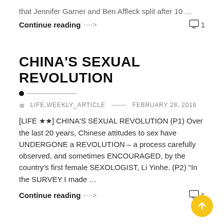that Jennifer Garner and Ben Affleck split after 10 …
Continue reading  ····>                                    □ 1
CHINA'S SEXUAL REVOLUTION
≡  LIFE,WEEKLY_ARTICLE  —  FEBRUARY 28, 2016
[LIFE ★★] CHINA'S SEXUAL REVOLUTION (P1) Over the last 20 years, Chinese attitudes to sex have UNDERGONE a REVOLUTION – a process carefully observed, and sometimes ENCOURAGED, by the country's first female SEXOLOGIST, Li Yinhe. (P2) "In the SURVEY I made …
Continue reading  ····>                                    □ 1